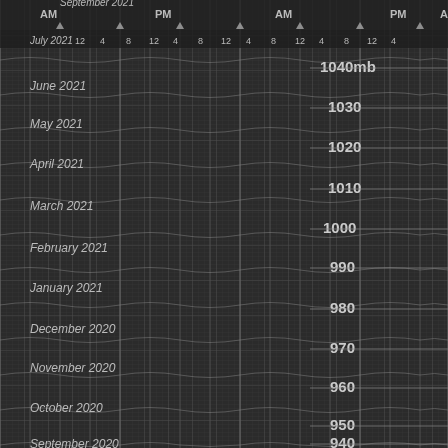[Figure (continuous-plot): A barograph-style continuous pressure chart showing atmospheric pressure (mb) over time from September 2020 to July 2021+. X-axis shows time of day in AM/PM with hours 4, 8, 12, 4 repeating. Y-axis shows months (September 2020 through July 2021) on the left and pressure values (940-1040 mb) in the center. Dark background with fine grid lines and curved pressure trace lines.]